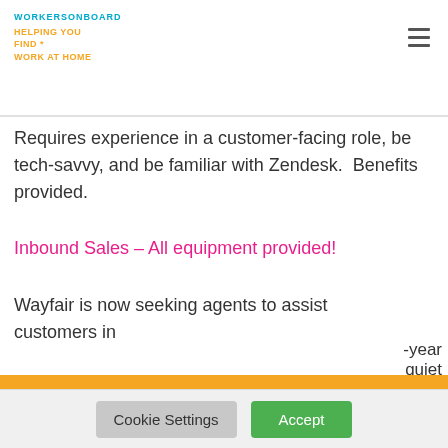WORKERSONBOARD HELPING YOU FIND * WORK AT HOME
Requires experience in a customer-facing role, be tech-savvy, and be familiar with Zendesk.  Benefits provided.
Inbound Sales – All equipment provided!
Wayfair is now seeking agents to assist customers in
[Figure (screenshot): Orange modal popup overlay with title 'Work from Home Jobs', an email input field, a cyan send button with envelope icon, and privacy text 'your information with anyone'. Orange background with white text.]
Cookie Settings  Accept